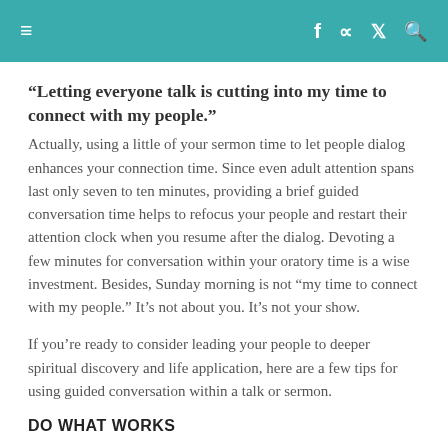≡  f  ⊃  🐦  🔍
“Letting everyone talk is cutting into my time to connect with my people.”
Actually, using a little of your sermon time to let people dialog enhances your connection time. Since even adult attention spans last only seven to ten minutes, providing a brief guided conversation time helps to refocus your people and restart their attention clock when you resume after the dialog. Devoting a few minutes for conversation within your oratory time is a wise investment. Besides, Sunday morning is not “my time to connect with my people.” It’s not about you. It’s not your show.
If you’re ready to consider leading your people to deeper spiritual discovery and life application, here are a few tips for using guided conversation within a talk or sermon.
DO WHAT WORKS